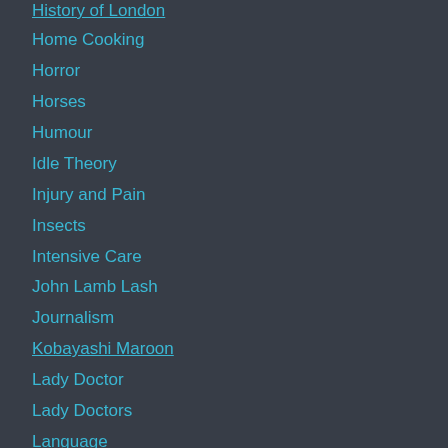History of London
Home Cooking
Horror
Horses
Humour
Idle Theory
Injury and Pain
Insects
Intensive Care
John Lamb Lash
Journalism
Kobayashi Maroon
Lady Doctor
Lady Doctors
Language
Leg Iron Books
Legal and Law
Legal Immigration